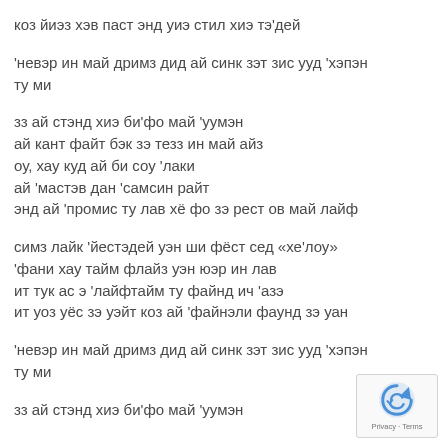коз йиэз хэв паст энд уиэ стил хиэ тэ'дей
'невэр ин май дримз дид ай синк зэт зис ууд 'хэпэн ту ми
зз ай стэнд хиэ би'фо май 'уумэн
ай кант файт бэк зэ тезз ин май айз
оу, хау куд ай би соу 'лаки
ай 'мастэв дан 'самсин райт
энд ай 'промис ту лав хё фо зэ рест ов май лайф
симз лайк 'йестэдей уэн ши фёст сед «хе'лоу»
'фани хау тайм флайз уэн юэр ин лав
ит тук ас э 'лайфтайм ту файнд ич 'азэ
ит уоз уёс зэ уэйт коз ай 'файнэли фаунд зэ уан
'невэр ин май дримз дид ай синк зэт зис ууд 'хэпэн ту ми
зз ай стэнд хиэ би'фо май 'уумэн